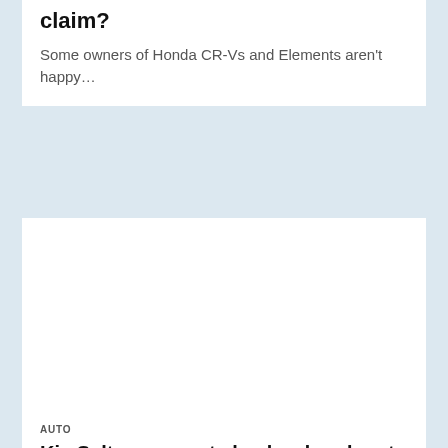claim?
Some owners of Honda CR-Vs and Elements aren't happy…
[Figure (photo): Blank white image placeholder for article about Kia Seltos car parts]
AUTO
Kia Seltos car parts backordered, not available—now what?
With orders for car parts delayed, who is on…